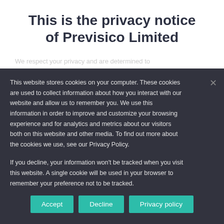This is the privacy notice of Previsico Limited
We respect your privacy and are determined to
This website stores cookies on your computer. These cookies are used to collect information about how you interact with our website and allow us to remember you. We use this information in order to improve and customize your browsing experience and for analytics and metrics about our visitors both on this website and other media. To find out more about the cookies we use, see our Privacy Policy.
If you decline, your information won't be tracked when you visit this website. A single cookie will be used in your browser to remember your preference not to be tracked.
Accept | Decline | Privacy policy